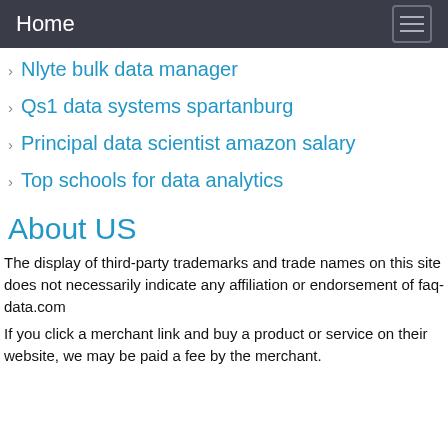Home
Nlyte bulk data manager
Qs1 data systems spartanburg
Principal data scientist amazon salary
Top schools for data analytics
About US
The display of third-party trademarks and trade names on this site does not necessarily indicate any affiliation or endorsement of faq-data.com
If you click a merchant link and buy a product or service on their website, we may be paid a fee by the merchant.